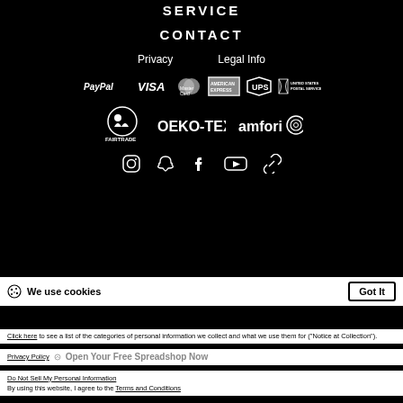SERVICE
CONTACT
Privacy   Legal Info
[Figure (logo): Payment and shipping logos: PayPal, VISA, MasterCard, American Express, UPS, United States Postal Service]
[Figure (logo): Certification logos: Fairtrade, OEKO-TEX®, amfori]
[Figure (logo): Social media icons: Instagram, Snapchat, Facebook, YouTube, link/chain icon]
We use cookies
Got It
Click here to see a list of the categories of personal information we collect and what we use them for ("Notice at Collection").
Privacy Policy
Open Your Free Spreadshop Now
Do Not Sell My Personal Information
By using this website, I agree to the Terms and Conditions